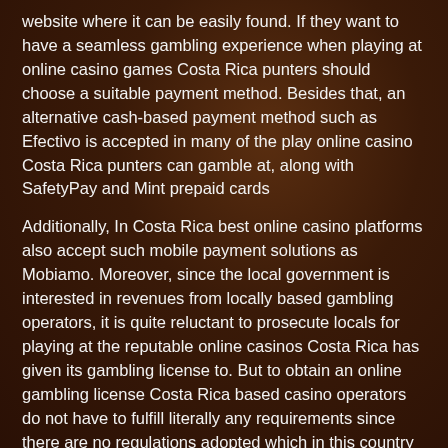website where it can be easily found. If they want to have a seamless gambling experience when playing at online casino games Costa Rica punters should choose a suitable payment method. Besides that, an alternative cash-based payment method such as Efectivo is accepted in many of the play online casino Costa Rica punters can gamble at, along with SafetyPay and Mint prepaid cards
Additionally, In Costa Rica best online casino platforms also accept such mobile payment solutions as Mobiamo. Moreover, since the local government is interested in revenues from locally based gambling operators, it is quite reluctant to prosecute locals for playing at the reputable online casinos Costa Rica has given its gambling license to. But to obtain an online gambling license Costa Rica based casino operators do not have to fulfill literally any requirements since there are no regulations adopted which in this country foreseeing any special licensing procedures. From this point of view, in regards to online gambling Costa Rica legal policy is more than favorable towards locally registered casino websites. That is one of the